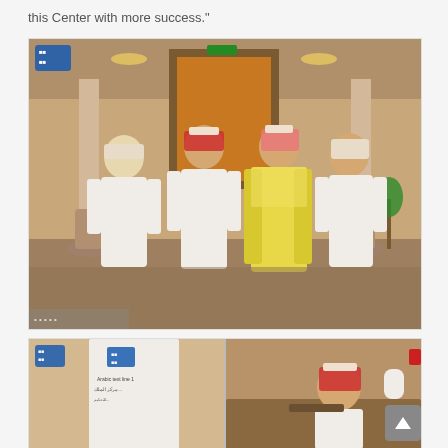this Center with more success.”
[Figure (photo): Four men in traditional Saudi Arabian dress standing in a formal pose inside a building. One man in the center wears a yellow thobe. Others wear white thobes with red-and-white or white headscarves. A small blue logo watermark appears in the top-left corner.]
[Figure (photo): Indoor scene showing a banner/flag with a blue logo and Arabic text, and a man wearing a red-and-white headdress seated at a desk. A blue logo watermark appears in the top-left corner.]